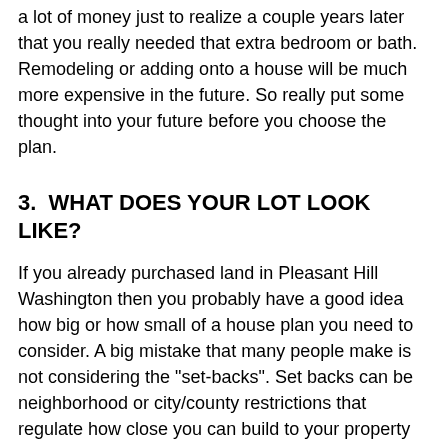a lot of money just to realize a couple years later that you really needed that extra bedroom or bath. Remodeling or adding onto a house will be much more expensive in the future. So really put some thought into your future before you choose the plan.
3.  WHAT DOES YOUR LOT LOOK LIKE?
If you already purchased land in Pleasant Hill Washington then you probably have a good idea how big or how small of a house plan you need to consider. A big mistake that many people make is not considering the "set-backs". Set backs can be neighborhood or city/county restrictions that regulate how close you can build to your property line. These restrictions can be listed in your neighborhood covenants and restrictions. They can be obtained from your local building department that regulates your area.
Keep in mind that if you live in the county, you may have a planning and zoning office that is separate from the city zoning office. If you are unsure just give them a call. Tell them where your lot is or where you plan to build and ask how to obtain a copy of the "set-back"